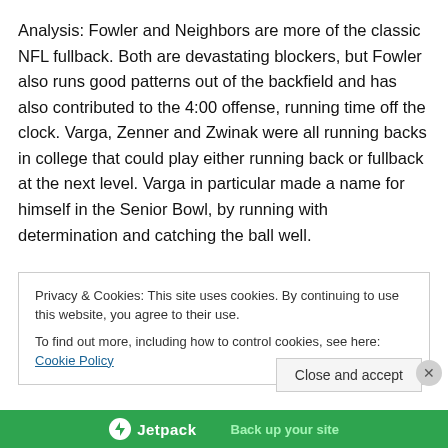Analysis: Fowler and Neighbors are more of the classic NFL fullback. Both are devastating blockers, but Fowler also runs good patterns out of the backfield and has also contributed to the 4:00 offense, running time off the clock. Varga, Zenner and Zwinak were all running backs in college that could play either running back or fullback at the next level. Varga in particular made a name for himself in the Senior Bowl, by running with determination and catching the ball well.
Privacy & Cookies: This site uses cookies. By continuing to use this website, you agree to their use. To find out more, including how to control cookies, see here: Cookie Policy
Close and accept
[Figure (other): Jetpack plugin promotional bar at the bottom of the page with green background, Jetpack logo, and 'Back up your site' text]